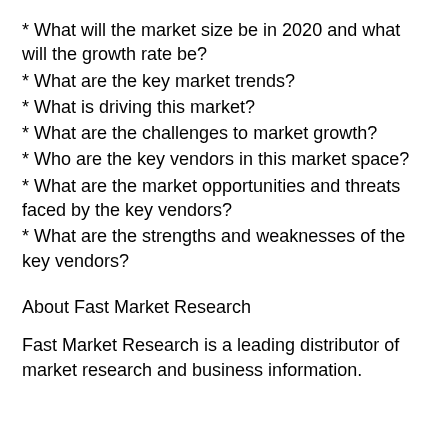* What will the market size be in 2020 and what will the growth rate be?
* What are the key market trends?
* What is driving this market?
* What are the challenges to market growth?
* Who are the key vendors in this market space?
* What are the market opportunities and threats faced by the key vendors?
* What are the strengths and weaknesses of the key vendors?
About Fast Market Research
Fast Market Research is a leading distributor of market research and business information.